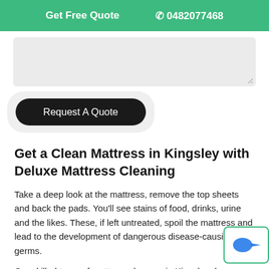Get Free Quote   📞 0482077468
[Figure (screenshot): Textarea input field with light gray background and resize handle in bottom-right corner]
[Figure (screenshot): Black rounded pill button labeled 'Request A Quote' on a light gray background]
Get a Clean Mattress in Kingsley with Deluxe Mattress Cleaning
Take a deep look at the mattress, remove the top sheets and back the pads. You'll see stains of food, drinks, urine and the likes. These, if left untreated, spoil the mattress and lead to the development of dangerous disease-causing germs.
Our skilled team of mattress cleaners in Kingsley de...